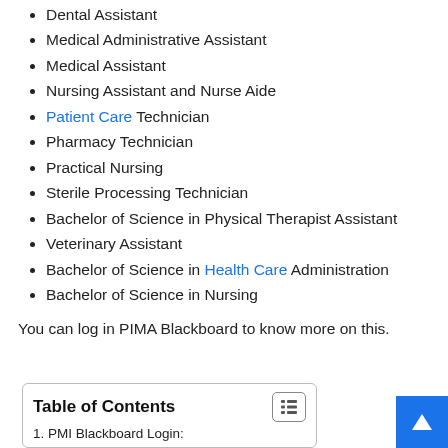Dental Assistant
Medical Administrative Assistant
Medical Assistant
Nursing Assistant and Nurse Aide
Patient Care Technician
Pharmacy Technician
Practical Nursing
Sterile Processing Technician
Bachelor of Science in Physical Therapist Assistant
Veterinary Assistant
Bachelor of Science in Health Care Administration
Bachelor of Science in Nursing
You can log in PIMA Blackboard to know more on this.
Table of Contents
1. PMI Blackboard Login: